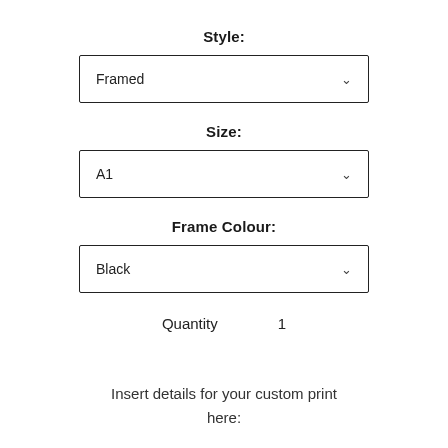Style:
[Figure (other): Dropdown selector showing 'Framed' with chevron arrow]
Size:
[Figure (other): Dropdown selector showing 'A1' with chevron arrow]
Frame Colour:
[Figure (other): Dropdown selector showing 'Black' with chevron arrow]
Quantity    1
Insert details for your custom print here: